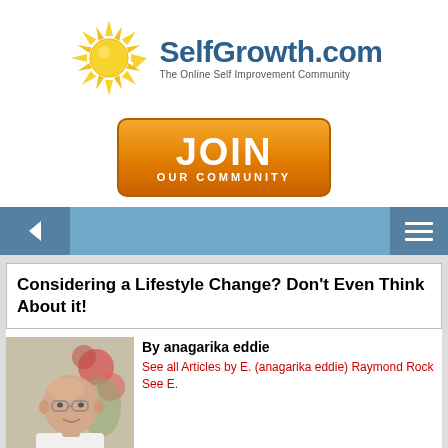[Figure (logo): SelfGrowth.com logo with sun graphic and tagline 'The Online Self Improvement Community']
[Figure (illustration): Orange JOIN OUR COMMUNITY button]
[Figure (illustration): Navigation bar with back arrow on left and hamburger menu on right]
Considering a Lifestyle Change? Don't Even Think About it!
[Figure (photo): Photo of author anagarika eddie, bald man in white shirt]
By anagarika eddie
See all Articles by E. (anagarika eddie) Raymond Rock   See E.